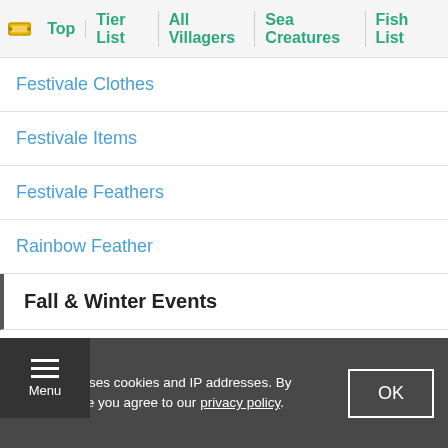Top | Tier List | All Villagers | Sea Creatures | Fish List
Festivale Clothes
Festivale Items
Festivale Feathers
Rainbow Feather
Fall & Winter Events
Valentine's Day
Setsubun
Lunar New Year
GameWith uses cookies and IP addresses. By using our site you agree to our privacy policy.